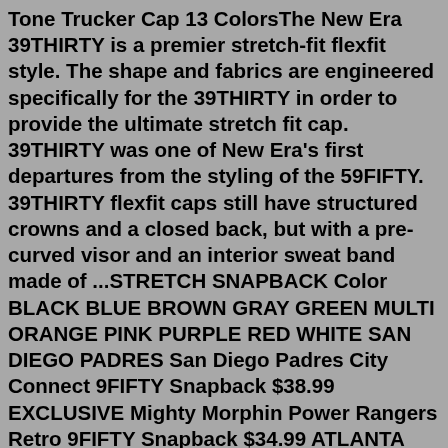Tone Trucker Cap 13 ColorsThe New Era 39THIRTY is a premier stretch-fit flexfit style. The shape and fabrics are engineered specifically for the 39THIRTY in order to provide the ultimate stretch fit cap. 39THIRTY was one of New Era's first departures from the styling of the 59FIFTY. 39THIRTY flexfit caps still have structured crowns and a closed back, but with a pre-curved visor and an interior sweat band made of ...STRETCH SNAPBACK Color BLACK BLUE BROWN GRAY GREEN MULTI ORANGE PINK PURPLE RED WHITE SAN DIEGO PADRES San Diego Padres City Connect 9FIFTY Snapback $38.99 EXCLUSIVE Mighty Morphin Power Rangers Retro 9FIFTY Snapback $34.99 ATLANTA BRAVES Atlanta Braves Gold Collection 9FIFTY Snapback $36.99 LOS ANGELES DODGERS 2 votes and 1 comment so far on Reddit For good reason too; the New Era brand and more specifically the New Era snapback is synonymous with the term quality and provides some of the